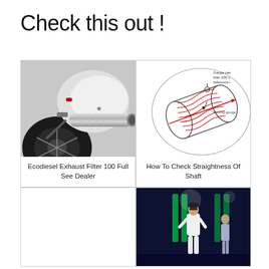Check this out !
[Figure (photo): Motorcycle exhaust/muffler area showing a chrome exhaust pipe and rear wheel]
Ecodiesel Exhaust Filter 100 Full See Dealer
[Figure (engineering-diagram): Diagram showing how to check straightness of a shaft using a moving gauge, with red arrows and a circle around the shaft]
How To Check Straightness Of Shaft
[Figure (photo): Empty white cell (bottom left, no image)]
[Figure (photo): Person in white outfit performing on stage with colorful lights in the background]